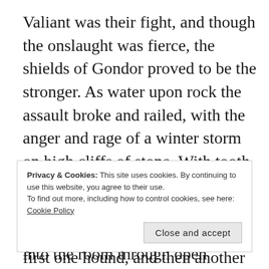Valiant was their fight, and though the onslaught was fierce, the shields of Gondor proved to be the stronger. As water upon rock the assault broke and railed, with the anger and rage of a winter storm on high cliffs of stone. With tooth and claw the wolves of Mordor store the armour of the West, while arrows and darts whined into the room through open windows, but none could break through the defense of the men within.
Privacy & Cookies: This site uses cookies. By continuing to use this website, you agree to their use. To find out more, including how to control cookies, see here: Cookie Policy
first one hound, and then another fell limp to the stone